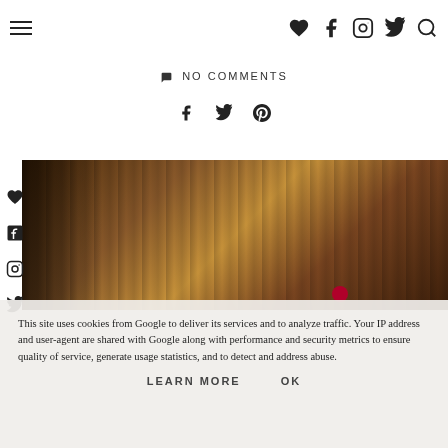Navigation and social icons bar
NO COMMENTS
[Figure (other): Social share icons: Facebook, Twitter, Pinterest]
[Figure (photo): Blurred dark warm-toned background with vertical stripes resembling curtains or wood, with a small red circular accent at the bottom]
This site uses cookies from Google to deliver its services and to analyze traffic. Your IP address and user-agent are shared with Google along with performance and security metrics to ensure quality of service, generate usage statistics, and to detect and address abuse.
LEARN MORE   OK